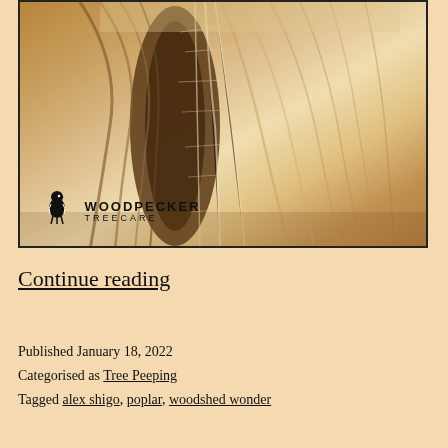[Figure (photo): Close-up photograph of a cross-section of a split piece of wood (poplar), showing detailed grain, fibrous texture, and internal structure. The Woodpecker Treecare logo appears in the lower-left corner of the image.]
Continue reading
Published January 18, 2022
Categorised as Tree Peeping
Tagged alex shigo, poplar, woodshed wonder